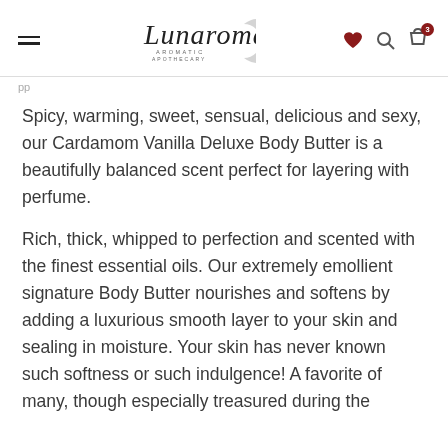Lunaroma Aromatic Apothecary
Spicy, warming, sweet, sensual, delicious and sexy, our Cardamom Vanilla Deluxe Body Butter is a beautifully balanced scent perfect for layering with perfume.
Rich, thick, whipped to perfection and scented with the finest essential oils. Our extremely emollient signature Body Butter nourishes and softens by adding a luxurious smooth layer to your skin and sealing in moisture. Your skin has never known such softness or such indulgence! A favorite of many, though especially treasured during the